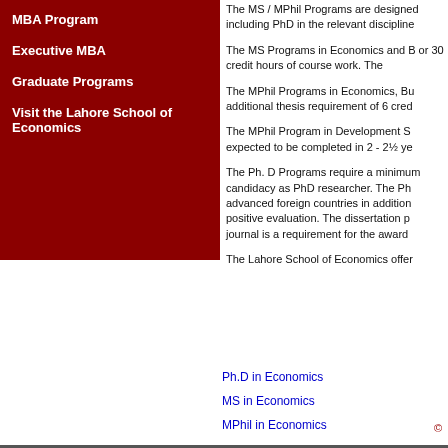MBA Program
Executive MBA
Graduate Programs
Visit the Lahore School of Economics
The MS / MPhil Programs are designed including PhD in the relevant discipline
The MS Programs in Economics and B or 30 credit hours of course work. The
The MPhil Programs in Economics, Bu additional thesis requirement of 6 cred
The MPhil Program in Development S expected to be completed in 2 - 2½ ye
The Ph. D Programs require a minimum candidacy as PhD researcher. The Ph advanced foreign countries in addition positive evaluation. The dissertation p journal is a requirement for the award
The Lahore School of Economics offer
Ph.D in Economics
MS in Economics
MPhil in Economics